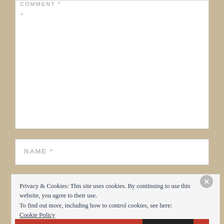COMMENT *
*
NAME *
Privacy & Cookies: This site uses cookies. By continuing to use this website, you agree to their use.
To find out more, including how to control cookies, see here: Cookie Policy
Close and accept